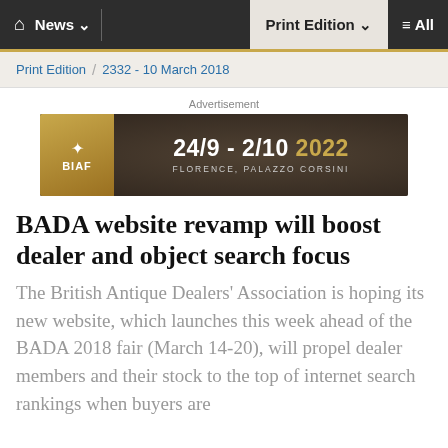🏠 News ∨  |  Print Edition ∨  ≡ All
Print Edition / 2332 - 10 March 2018
[Figure (other): Advertisement banner for BIAF: 24/9 - 2/10 2022, Florence, Palazzo Corsini]
BADA website revamp will boost dealer and object search focus
The British Antique Dealers' Association is hoping its new website, which launches this week ahead of the BADA 2018 fair (March 14-20), will propel dealer members and their stock to the top of internet search rankings when buyers are